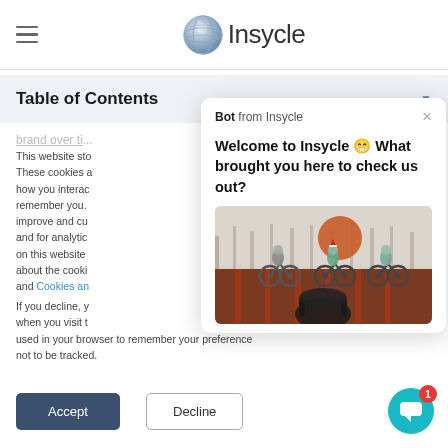[Figure (screenshot): Insycle website header with hamburger menu icon on the left and Insycle logo (globe icon + wordmark) in the center]
Table of Contents
brand over ti...
This website sto... These cookies a... how you interac... remember you. improve and cu... and for analytic... on this website about the cooki... and Cookies an...
If you decline, y... when you visit t... used in your browser to remember your preference not to be tracked.
[Figure (screenshot): Chat popup from Insycle bot showing welcome message 'Welcome to Insycle 😄 What brought you here to check us out?' with an illustration of cartoon animals riding bicycles]
Accept
Decline